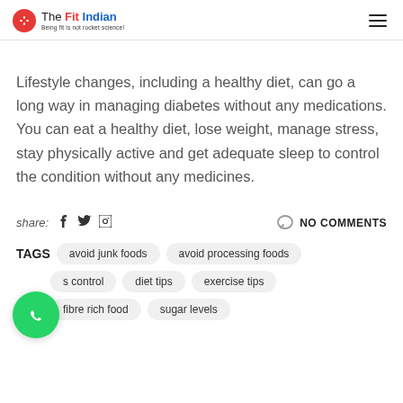The Fit Indian — Being fit is not rocket science!
Lifestyle changes, including a healthy diet, can go a long way in managing diabetes without any medications. You can eat a healthy diet, lose weight, manage stress, stay physically active and get adequate sleep to control the condition without any medicines.
share:   NO COMMENTS
TAGS: avoid junk foods, avoid processing foods, s control, diet tips, exercise tips, fibre rich food, sugar levels